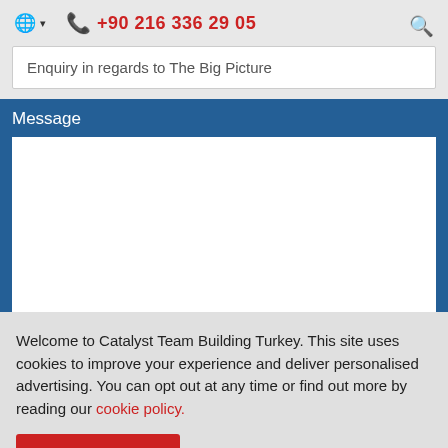+90 216 336 29 05
Enquiry in regards to The Big Picture
Message
Welcome to Catalyst Team Building Turkey. This site uses cookies to improve your experience and deliver personalised advertising. You can opt out at any time or find out more by reading our cookie policy.
I Understand